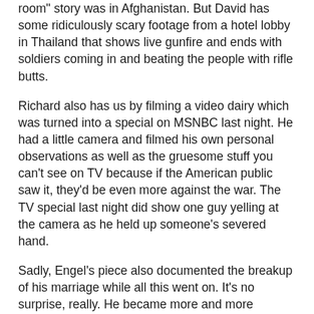room" story was in Afghanistan. But David has some ridiculously scary footage from a hotel lobby in Thailand that shows live gunfire and ends with soldiers coming in and beating the people with rifle butts.
Richard also has us by filming a video dairy which was turned into a special on MSNBC last night. He had a little camera and filmed his own personal observations as well as the gruesome stuff you can't see on TV because if the American public saw it, they'd be even more against the war. The TV special last night did show one guy yelling at the camera as he held up someone's severed hand.
Sadly, Engel's piece also documented the breakup of his marriage while all this went on. It's no surprise, really. He became more and more isolated during this exposure to the horrors of war, and that's one of the things that happens. My brother called me after seeing a car bombing in Kurdistan one time and frankly, I worried that his head had been cooked. It's tough when you have to rush to see the horrible things and video-tape them. Another time my brother was video-taping a suffering child near Mt. Pinatuba in the